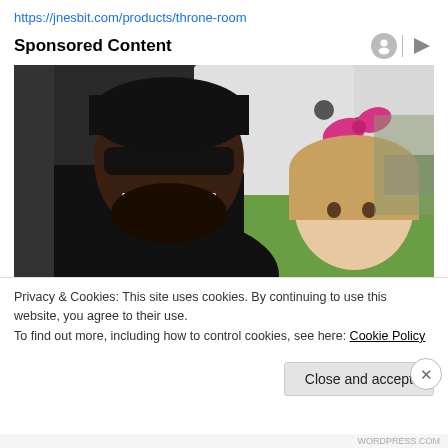https://jnesbit.com/products/throne-room
Sponsored Content
[Figure (photo): A man wearing a black cap and sunglasses smiling alongside a young girl with a pink bow in her hair, outdoors near a vehicle.]
Privacy & Cookies: This site uses cookies. By continuing to use this website, you agree to their use.
To find out more, including how to control cookies, see here: Cookie Policy
Close and accept